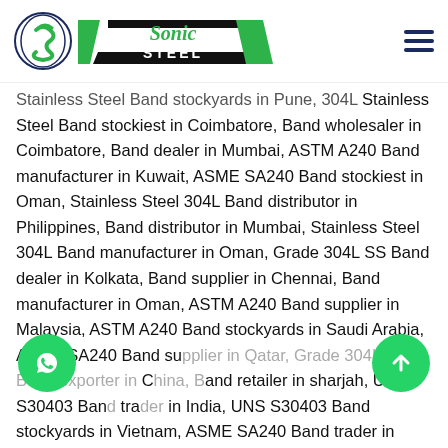[Figure (logo): Sonic Steel logo with circular emblem and company name]
Stainless Steel Band stockyards in Pune, 304L Stainless Steel Band stockiest in Coimbatore, Band wholesaler in Coimbatore, Band dealer in Mumbai, ASTM A240 Band manufacturer in Kuwait, ASME SA240 Band stockiest in Oman, Stainless Steel 304L Band distributor in Philippines, Band distributor in Mumbai, Stainless Steel 304L Band manufacturer in Oman, Grade 304L SS Band dealer in Kolkata, Band supplier in Chennai, Band manufacturer in Oman, ASTM A240 Band supplier in Malaysia, ASTM A240 Band stockyards in Saudi Arabia, ASME SA240 Band supplier in Qatar, Grade 304L SS Band exporter in China, Band retailer in sharjah, UNS S30403 Band trader in India, UNS S30403 Band stockyards in Vietnam, ASME SA240 Band trader in Mumbai, Grade